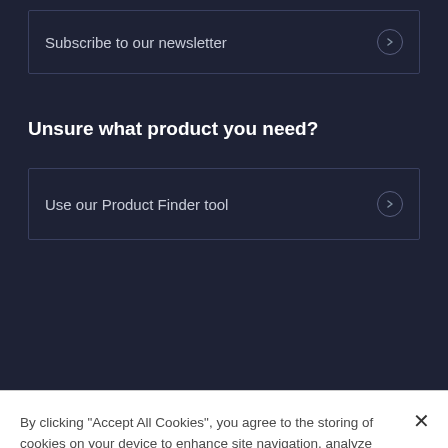Subscribe to our newsletter
Unsure what product you need?
Use our Product Finder tool
By clicking “Accept All Cookies”, you agree to the storing of cookies on your device to enhance site navigation, analyze site usage, and assist in our marketing efforts.
Cookies Settings
Reject All
Accept All Cookies